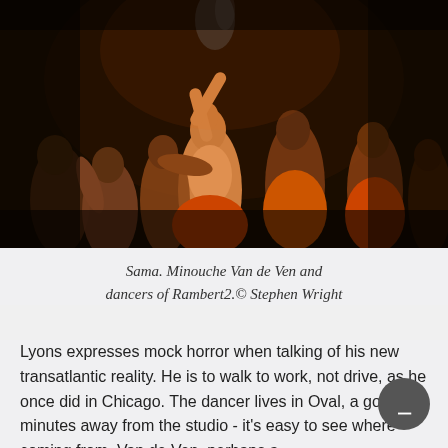[Figure (photo): Dark stage photo of multiple dancers in orange/red costumes. A central dancer with face tilted upward and arms raised is surrounded by other dancers, all dramatically lit against a black background.]
Sama. Minouche Van de Ven and dancers of Rambert2.© Stephen Wright
Lyons expresses mock horror when talking of his new transatlantic reality. He is to walk to work, not drive, as he once did in Chicago. The dancer lives in Oval, a good ten minutes away from the studio - it's easy to see where coming from. Van de Ven, perhaps a